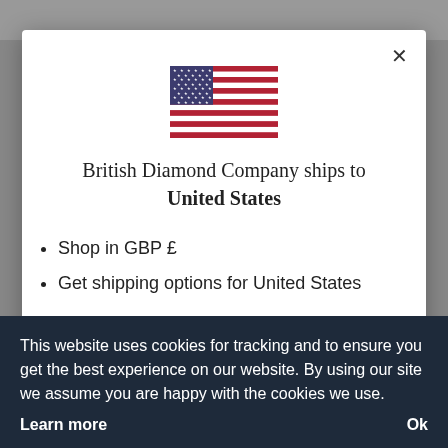[Figure (illustration): US flag illustration centered at top of modal dialog]
British Diamond Company ships to United States
Shop in GBP £
Get shipping options for United States
This website uses cookies for tracking and to ensure you get the best experience on our website. By using our site we assume you are happy with the cookies we use.
Learn more
Ok